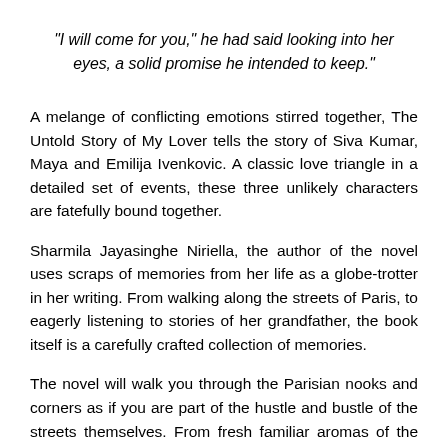“I will come for you,” he had said looking into her eyes, a solid promise he intended to keep.”
A melange of conflicting emotions stirred together, The Untold Story of My Lover tells the story of Siva Kumar, Maya and Emilija Ivenkovic. A classic love triangle in a detailed set of events, these three unlikely characters are fatefully bound together.
Sharmila Jayasinghe Niriella, the author of the novel uses scraps of memories from her life as a globe-trotter in her writing. From walking along the streets of Paris, to eagerly listening to stories of her grandfather, the book itself is a carefully crafted collection of memories.
The novel will walk you through the Parisian nooks and corners as if you are part of the hustle and bustle of the streets themselves. From fresh familiar aromas of the street-side bistros